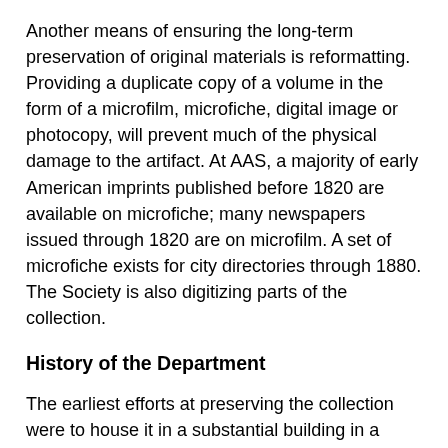Another means of ensuring the long-term preservation of original materials is reformatting. Providing a duplicate copy of a volume in the form of a microfilm, microfiche, digital image or photocopy, will prevent much of the physical damage to the artifact. At AAS, a majority of early American imprints published before 1820 are available on microfiche; many newspapers issued through 1820 are on microfilm. A set of microfiche exists for city directories through 1880. The Society is also digitizing parts of the collection.
History of the Department
The earliest efforts at preserving the collection were to house it in a substantial building in a geographically protected location. In 1819, Isaiah Thomas contracted for the erection of a brick building to provide protection from fire. When additions to that building were proposed in 1831, his will required that the roof sections be covered with slate or zinc, that the floors be covered with brick or tile, and that